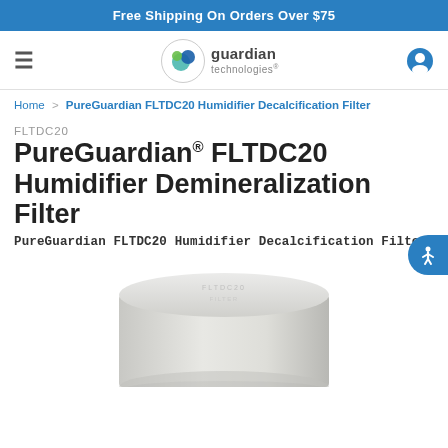Free Shipping On Orders Over $75
[Figure (logo): Guardian Technologies logo with circular green/teal dots and text 'guardian technologies']
Home > PureGuardian FLTDC20 Humidifier Decalcification Filter
FLTDC20
PureGuardian® FLTDC20 Humidifier Demineralization Filter
PureGuardian FLTDC20 Humidifier Decalcification Filter
[Figure (photo): White cylindrical humidifier demineralization filter product, top-down angled view on white background]